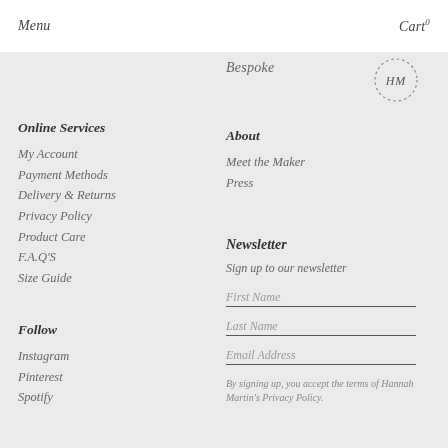Menu   Cart 0
Bespoke
[Figure (logo): HM circular dotted logo with letters H and M inside]
Online Services
My Account
Payment Methods
Delivery & Returns
Privacy Policy
Product Care
F.A.Q'S
Size Guide
About
Meet the Maker
Press
Newsletter
Sign up to our newsletter
First Name
Last Name
Email Address
By signing up, you accept the terms of Hannah Martin's Privacy Policy.
Follow
Instagram
Pinterest
Spotify